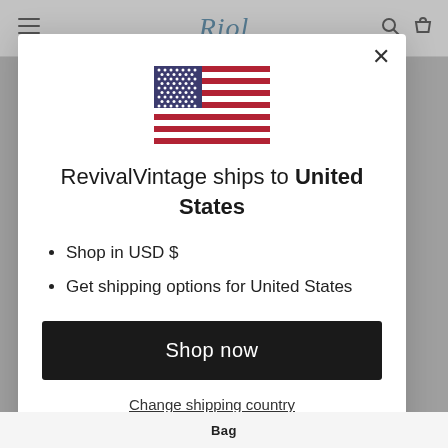[Figure (screenshot): Website navigation bar with hamburger menu, cursive brand name in blue, and icons on the right]
[Figure (illustration): US flag displayed in the center of the modal dialog]
RevivalVintage ships to United States
Shop in USD $
Get shipping options for United States
Shop now
Change shipping country
Bag